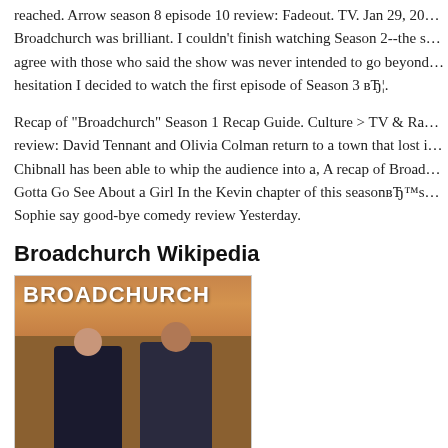reached. Arrow season 8 episode 10 review: Fadeout. TV. Jan 29, 20... Broadchurch was brilliant. I couldn't finish watching Season 2--the s... agree with those who said the show was never intended to go beyond... hesitation I decided to watch the first episode of Season 3 вЂ¦.
Recap of "Broadchurch" Season 1 Recap Guide. Culture > TV & Ra... review: David Tennant and Olivia Colman return to a town that lost i... Chibnall has been able to whip the audience into a, A recap of Broad... Gotta Go See About a Girl In the Kevin chapter of this seasonвЂ™s... Sophie say good-bye comedy review Yesterday.
Broadchurch Wikipedia
[Figure (photo): Broadchurch TV show promotional image showing two figures (a woman and a man) standing against an orange/brown sky background with the show title 'BROADCHURCH' in white bold text at the top left.]